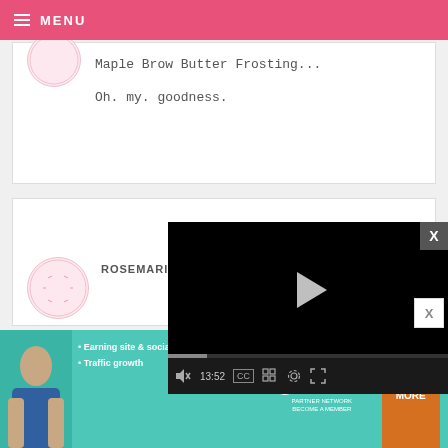MENU
Maple Brow Butter Frosting...
Oh. my. goodness.
ROSEMARIE — OCTOBER 30, 2008 @ 12:57 PM
REPLY
Pioneer W... made you... feeling yo... of hits too...
[Figure (screenshot): Video player overlay showing black background, play button triangle, progress bar at 13:52, and video controls including mute, CC, grid, settings, and fullscreen icons]
[Figure (infographic): SHE Partner Network advertisement banner with teal background, a woman's photo, bullet points 'Earning site & social revenue' and 'Traffic growth', SHE logo, and an orange 'LEARN MORE' button]